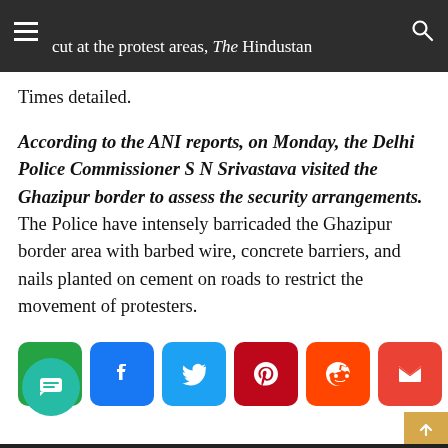2022 budget, and the electricity and water supply cut at the protest areas, The Hindustan Times detailed.
According to the ANI reports, on Monday, the Delhi Police Commissioner S N Srivastava visited the Ghazipur border to assess the security arrangements. The Police have intensely barricaded the Ghazipur border area with barbed wire, concrete barriers, and nails planted on cement on roads to restrict the movement of protesters.
[Figure (infographic): Social media share buttons: WhatsApp (green), Facebook (blue), Twitter (light blue), Pinterest (dark red), Reddit (orange-red), Gmail (red), More/Plus (light blue)]